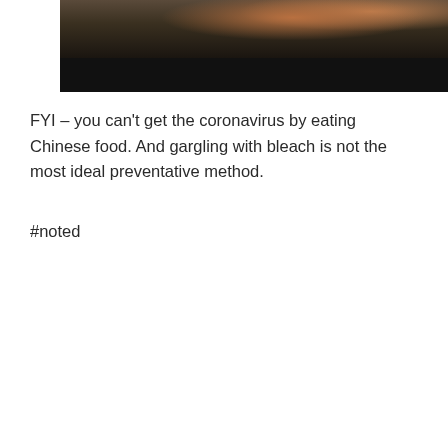[Figure (photo): A man in a suit sitting at a desk with hands clasped, photographed from the chest up. Dark background.]
FYI – you can't get the coronavirus by eating Chinese food. And gargling with bleach is not the most ideal preventative method.
#noted
[Figure (photo): A dark tunnel with a bright circular light at the end. A small silhouetted figure stands in the center of the tunnel opening.]